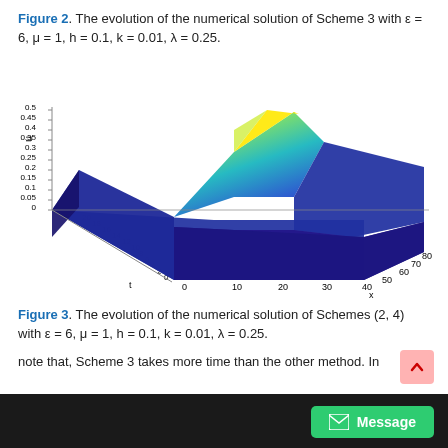Figure 2. The evolution of the numerical solution of Scheme 3 with ε = 6, μ = 1, h = 0.1, k = 0.01, λ = 0.25.
[Figure (continuous-plot): 3D surface plot showing the evolution of the numerical solution of Scheme 3. The surface rises to a peak around x=20-30 with a maximum u value near 0.5, then drops sharply, with low flat regions on both sides. The color transitions from dark blue (low values) through cyan, green, yellow to the peak. The x-axis ranges from 0 to 80, t-axis from 0 to 20, and u-axis from 0 to 0.5.]
Figure 3. The evolution of the numerical solution of Schemes (2, 4) with ε = 6, μ = 1, h = 0.1, k = 0.01, λ = 0.25.
note that, Scheme 3 takes more time than the other method. In